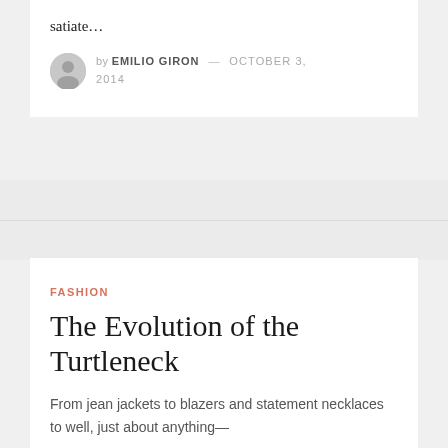satiate…
by EMILIO GIRON — OCTOBER 3, 2014
FASHION
The Evolution of the Turtleneck
From jean jackets to blazers and statement necklaces to well, just about anything—